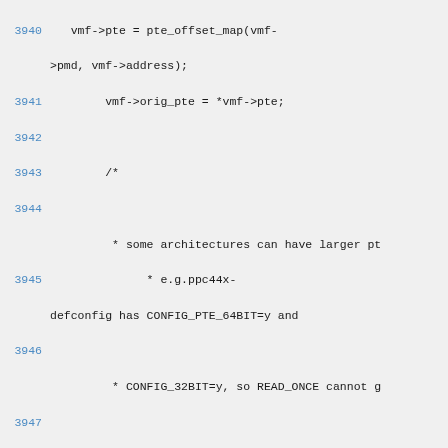Source code listing, lines 3940-3957, C kernel code with line numbers
[Figure (screenshot): Linux kernel C source code showing lines 3940-3957 with line numbers in blue and code in monospace font on light gray background]